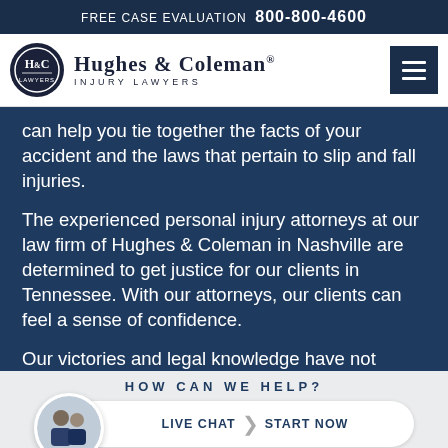FREE CASE EVALUATION  800-800-4600
[Figure (logo): Hughes & Coleman Injury Lawyers logo with H&C oval emblem]
can help you tie together the facts of your accident and the laws that pertain to slip and fall injuries.
The experienced personal injury attorneys at our law firm of Hughes & Coleman in Nashville are determined to get justice for our clients in Tennessee. With our attorneys, our clients can feel a sense of confidence.
Our victories and legal knowledge have not come easy; rather, our success is the result of years of practicing law. Our lawyers apply a
HOW CAN WE HELP?
LIVE CHAT  START NOW